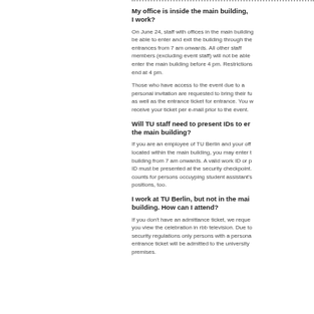My office is inside the main building, I work?
On June 24, staff with offices in the main building be able to enter and exit the building through the entrances from 7 am onwards. All other staff members (excluding event staff) will not be able enter the main building before 4 pm. Restrictions end at 4 pm.
Those who have access to the event due to a personal invitation are requested to bring their fu as well as the entrance ticket for entrance. You w receive your ticket per e-mail prior to the event.
Will TU staff need to present IDs to er the main building?
If you are an employee of TU Berlin and your off located within the main building, you may enter t building from 7 am onwards. A valid work ID or p ID must be presented at the security checkpoint. counts for persons occuyping student assistant's positions, too.
I work at TU Berlin, but not in the mai building. How can I attend?
If you don't have an admittance ticket, we reque you view the celebration in rbb television. Due to security regulations only persons with a persona entrance ticket will be admitted to the university premises.